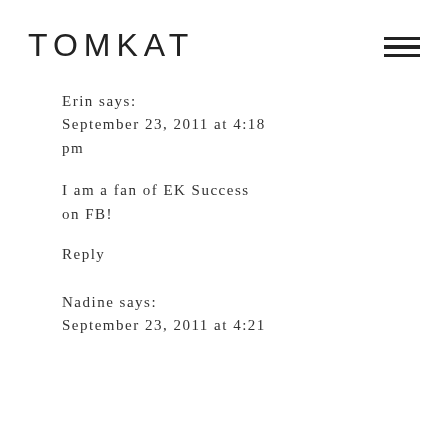TOMKAT
Erin says:
September 23, 2011 at 4:18 pm
I am a fan of EK Success on FB!
Reply
Nadine says:
September 23, 2011 at 4:21